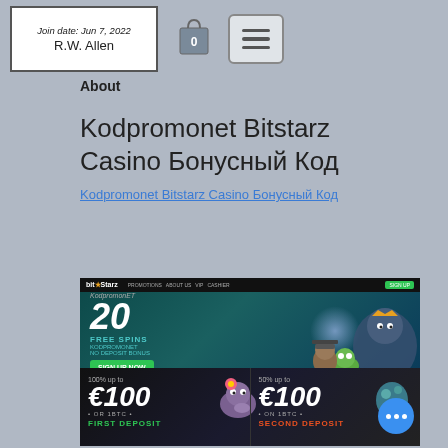Join date: Jun 7, 2022
R.W. Allen
About
Kodpromonet Bitstarz Casino Бонусный Код
Kodpromonet Bitstarz Casino Бонусный Код
[Figure (screenshot): Screenshot of the Bitstarz Casino website showing '20 FREE SPINS' promotion banner at the top with teal background, and deposit bonuses below showing '100% up to €100 OR 1BTC - FIRST DEPOSIT' and '50% up to €100 ON 1BTC - SECOND DEPOSIT' with a blue chat bubble with three dots in the bottom right.]